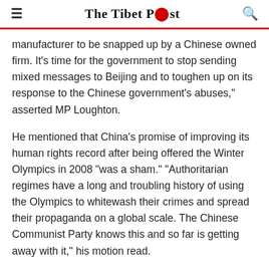The Tibet Post
manufacturer to be snapped up by a Chinese owned firm. It's time for the government to stop sending mixed messages to Beijing and to toughen up on its response to the Chinese government's abuses," asserted MP Loughton.
He mentioned that China's promise of improving its human rights record after being offered the Winter Olympics in 2008 "was a sham." "Authoritarian regimes have a long and troubling history of using the Olympics to whitewash their crimes and spread their propaganda on a global scale. The Chinese Communist Party knows this and so far is getting away with it," his motion read.
The Labour Party MP Graham Singer said that this event should be referred to as the "Genocide Games" by